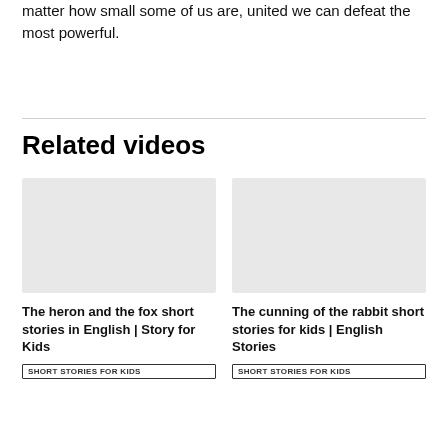matter how small some of us are, united we can defeat the most powerful.
Related videos
[Figure (other): Video thumbnail placeholder for 'The heron and the fox short stories in English | Story for Kids']
The heron and the fox short stories in English | Story for Kids
SHORT STORIES FOR KIDS
[Figure (other): Video thumbnail placeholder for 'The cunning of the rabbit short stories for kids | English Stories']
The cunning of the rabbit short stories for kids | English Stories
SHORT STORIES FOR KIDS